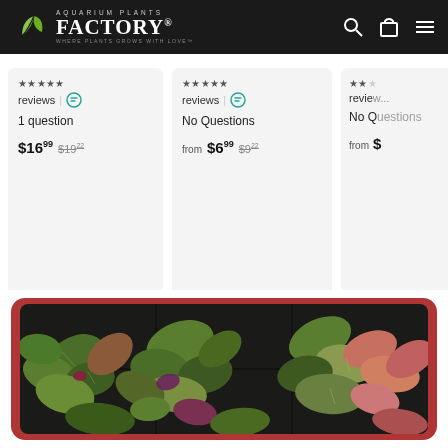AQUARIUM PLANTS FACTORY. WHERE PLANTS GROWS WITH LOVE
reviews | 1 question $16.99 $19.22
reviews | No Questions from $6.99 $9.22
reviews | No Q from $
[Figure (photo): Close-up photo of aquarium plants with green and purple/red leaves displayed in a red-bordered card]